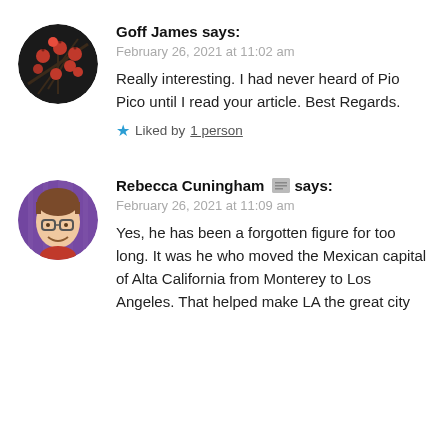[Figure (photo): Circular avatar image showing red berries on dark branches]
Goff James says:
February 26, 2021 at 11:02 am
Really interesting. I had never heard of Pio Pico until I read your article. Best Regards.
Liked by 1 person
[Figure (photo): Circular avatar image showing a woman with glasses smiling, purple background]
Rebecca Cuningham says:
February 26, 2021 at 11:09 am
Yes, he has been a forgotten figure for too long. It was he who moved the Mexican capital of Alta California from Monterey to Los Angeles. That helped make LA the great city